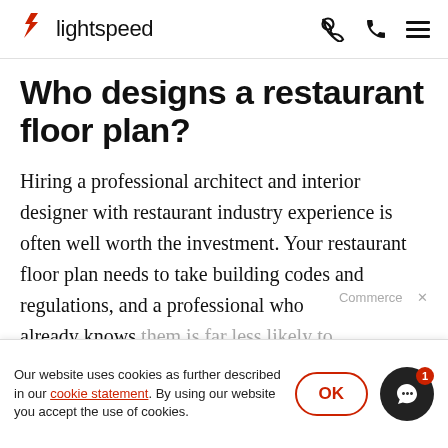lightspeed
Who designs a restaurant floor plan?
Hiring a professional architect and interior designer with restaurant industry experience is often well worth the investment. Your restaurant floor plan needs to take building codes and regulations, and a professional who already knows them is far less likely to
Our website uses cookies as further described in our cookie statement. By using our website you accept the use of cookies.